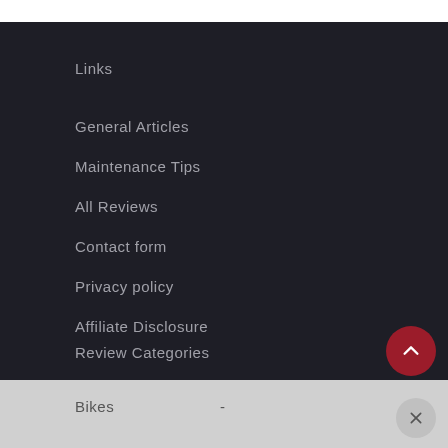Links
General Articles
Maintenance Tips
All Reviews
Contact form
Privacy policy
Affiliate Disclosure
Review Categories
Bikes